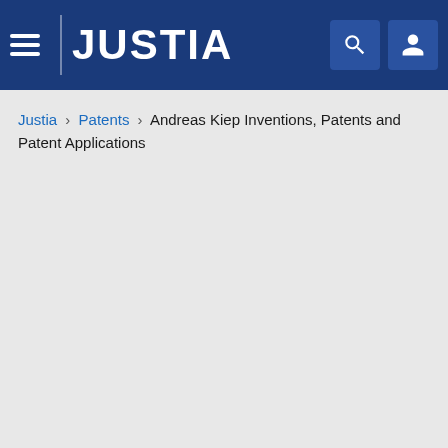JUSTIA
Justia › Patents › Andreas Kiep Inventions, Patents and Patent Applications